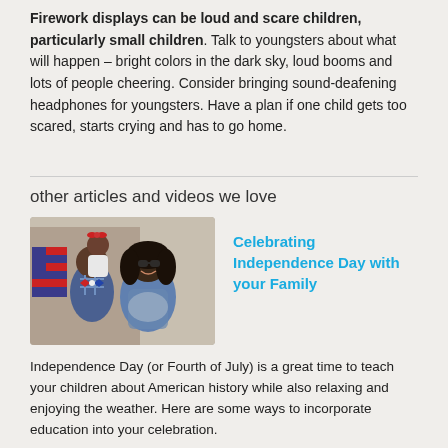Firework displays can be loud and scare children, particularly small children. Talk to youngsters about what will happen – bright colors in the dark sky, loud booms and lots of people cheering. Consider bringing sound-deafening headphones for youngsters. Have a plan if one child gets too scared, starts crying and has to go home.
other articles and videos we love
[Figure (photo): A family of three — a man, a young girl, and a woman wearing sunglasses — celebrating Independence Day outdoors with patriotic decorations.]
Celebrating Independence Day with your Family
Independence Day (or Fourth of July) is a great time to teach your children about American history while also relaxing and enjoying the weather. Here are some ways to incorporate education into your celebration.